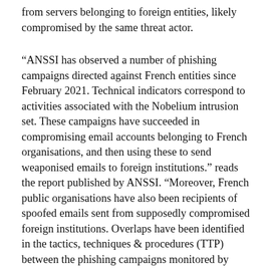from servers belonging to foreign entities, likely compromised by the same threat actor.
“ANSSI has observed a number of phishing campaigns directed against French entities since February 2021. Technical indicators correspond to activities associated with the Nobelium intrusion set. These campaigns have succeeded in compromising email accounts belonging to French organisations, and then using these to send weaponised emails to foreign institutions.” reads the report published by ANSSI. “Moreover, French public organisations have also been recipients of spoofed emails sent from supposedly compromised foreign institutions. Overlaps have been identified in the tactics, techniques & procedures (TTP) between the phishing campaigns monitored by ANSSI and the SOLARWINDS supply chain attack in 2020.”